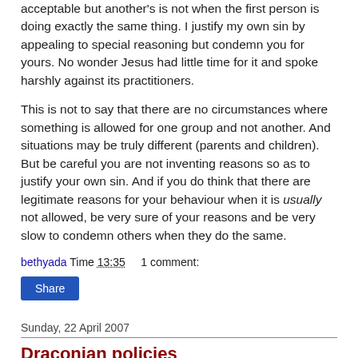acceptable but another's is not when the first person is doing exactly the same thing. I justify my own sin by appealing to special reasoning but condemn you for yours. No wonder Jesus had little time for it and spoke harshly against its practitioners.
This is not to say that there are no circumstances where something is allowed for one group and not another. And situations may be truly different (parents and children). But be careful you are not inventing reasons so as to justify your own sin. And if you do think that there are legitimate reasons for your behaviour when it is usually not allowed, be very sure of your reasons and be very slow to condemn others when they do the same.
bethyada Time 13:35    1 comment:
Share
Sunday, 22 April 2007
Draconian policies